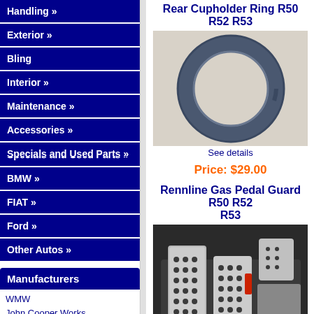Handling »
Exterior »
Bling
Interior »
Maintenance »
Accessories »
Specials and Used Parts »
BMW »
FIAT »
Ford »
Other Autos »
Manufacturers
WMW
John Cooper Works
aFe
MINI - OEM
Hotchkis Sport
Ireland Engineering
M7 Tuning
CravenSpeed
Alta Mini Performance
DDM Works
Akrapovic
H&R
Milltek
Megan Racing
Rear Cupholder Ring R50 R52 R53
[Figure (photo): Photo of a dark blue/grey circular cupholder ring for MINI R50 R52 R53]
See details
Price: $29.00
Rennline Gas Pedal Guard R50 R52 R53
[Figure (photo): Photo of Rennline aluminum gas pedal guard installed in MINI R50 R52 R53]
See details
Price: $39.95